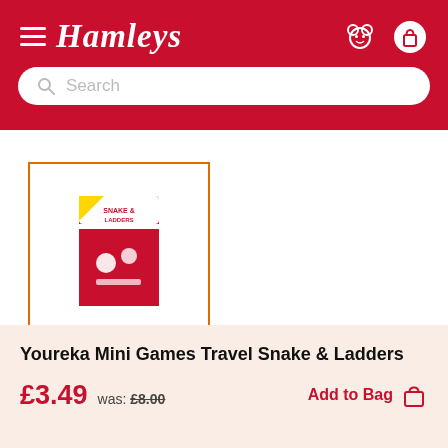Hamleys
[Figure (screenshot): Hamleys website header with hamburger menu, Hamleys logo, bear icon, and bag icon on red background with search bar below]
[Figure (photo): Thumbnail image of Youreka Mini Games Travel Snake & Ladders product box with orange border highlight]
Youreka Mini Games Travel Snake & Ladders
£3.49  was: £8.00  Add to Bag